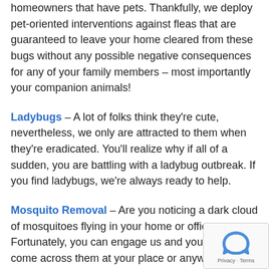homeowners that have pets. Thankfully, we deploy pet-oriented interventions against fleas that are guaranteed to leave your home cleared from these bugs without any possible negative consequences for any of your family members – most importantly your companion animals!
Ladybugs – A lot of folks think they're cute, nevertheless, we only are attracted to them when they're eradicated. You'll realize why if all of a sudden, you are battling with a ladybug outbreak. If you find ladybugs, we're always ready to help.
Mosquito Removal – Are you noticing a dark cloud of mosquitoes flying in your home or office. Fortunately, you can engage us and you won't come across them at your place or anywhere